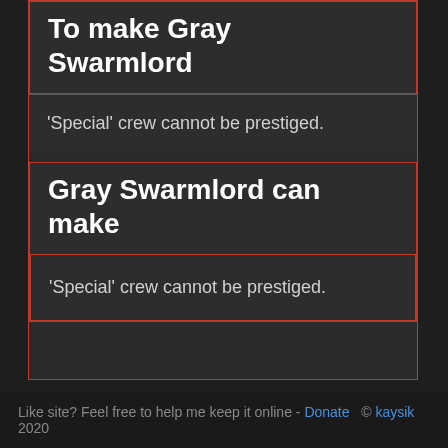To make Gray Swarmlord
'Special' crew cannot be prestiged.
Gray Swarmlord can make
'Special' crew cannot be prestiged.
Like site? Feel free to help me keep it online - Donate  © kaysik 2020